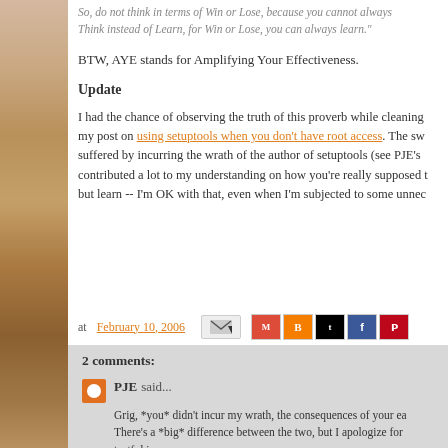So, do not think in terms of Win or Lose, because you cannot always Think instead of Learn, for Win or Lose, you can always learn."
BTW, AYE stands for Amplifying Your Effectiveness.
Update
I had the chance of observing the truth of this proverb while cleaning my post on using setuptools when you don't have root access. The sw suffered by incurring the wrath of the author of setuptools (see PJE's contributed a lot to my understanding on how you're really supposed t but learn -- I'm OK with that, even when I'm subjected to some unnec
at February 10, 2006
2 comments:
PJE said...
Grig, *you* didn't incur my wrath, the consequences of your ea There's a *big* difference between the two, but I apologize for tactful in my response.
The comments from other people on that post were indicating